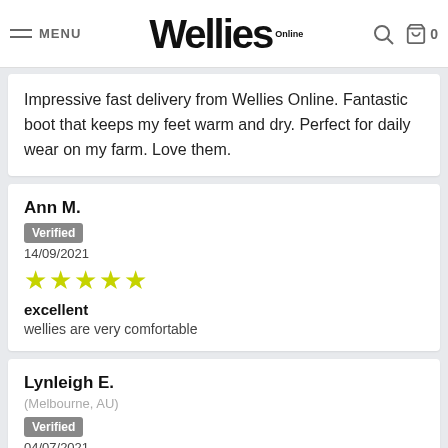MENU | Wellies Online | 0
Impressive fast delivery from Wellies Online. Fantastic boot that keeps my feet warm and dry. Perfect for daily wear on my farm. Love them.
Ann M.
Verified
14/09/2021
★★★★★
excellent
wellies are very comfortable
Lynleigh E.
(Melbourne, AU)
Verified
04/07/2021
★★★★★